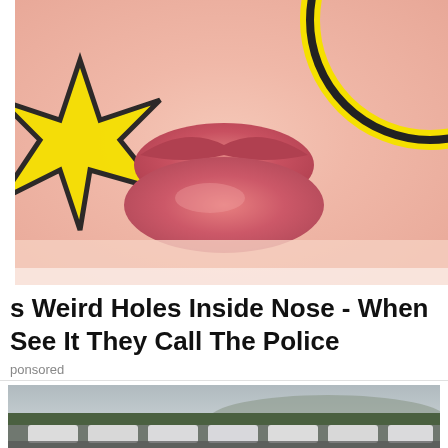[Figure (photo): Close-up photo of a person's nose and lips with yellow cartoon star/burst graphic element on the left and yellow circle arc on the right overlaid on the image]
s Weird Holes Inside Nose - When See It They Call The Police
ponsored
[Figure (photo): Photo of a large car lot or vehicle storage yard with rows of white cars parked, chain-link fence in foreground, trees and overcast sky in background]